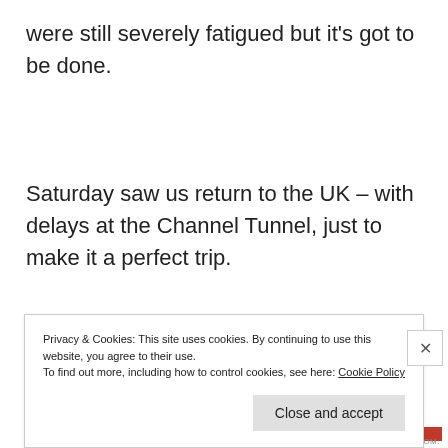were still severely fatigued but it's got to be done.
Saturday saw us return to the UK – with delays at the Channel Tunnel, just to make it a perfect trip.
Privacy & Cookies: This site uses cookies. By continuing to use this website, you agree to their use.
To find out more, including how to control cookies, see here: Cookie Policy
Close and accept